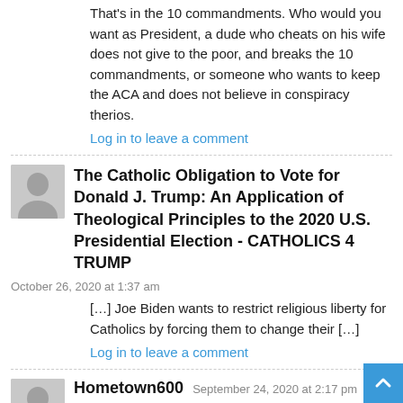That's in the 10 commandments. Who would you want as President, a dude who cheats on his wife does not give to the poor, and breaks the 10 commandments, or someone who wants to keep the ACA and does not believe in conspiracy therios.
Log in to leave a comment
The Catholic Obligation to Vote for Donald J. Trump: An Application of Theological Principles to the 2020 U.S. Presidential Election - CATHOLICS 4 TRUMP
October 26, 2020 at 1:37 am
[…] Joe Biden wants to restrict religious liberty for Catholics by forcing them to change their […]
Log in to leave a comment
Hometown600
September 24, 2020 at 2:17 pm
As Hawkeye and the members of MASH 4077 once demanded... "we want something else!"